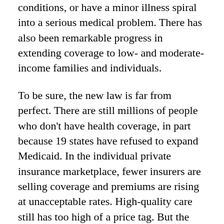conditions, or have a minor illness spiral into a serious medical problem. There has also been remarkable progress in extending coverage to low- and moderate-income families and individuals.
To be sure, the new law is far from perfect. There are still millions of people who don't have health coverage, in part because 19 states have refused to expand Medicaid. In the individual private insurance marketplace, fewer insurers are selling coverage and premiums are rising at unacceptable rates. High-quality care still has too high of a price tag. But the ACA established a strong foundation that we can build on.
Unfortunately, the progress we have made may soon be reversed. President-elect Trump and congressional Republicans are determined to repeal the law. They also